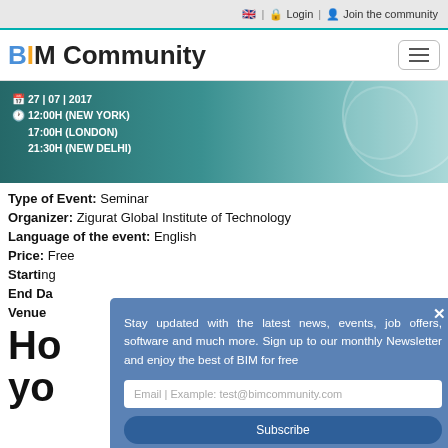🇬🇧 | 🔒 Login | 👤 Join the community
[Figure (logo): BIM Community logo with hamburger menu icon]
[Figure (photo): Banner with date 27|07|2017, times 12:00H (NEW YORK), 17:00H (LONDON), 21:30H (NEW DELHI) on teal background]
Type of Event: Seminar
Organizer: Zigurat Global Institute of Technology
Language of the event: English
Price: Free
Starting [date partially hidden by popup]
End Da[te partially hidden by popup]
Venue [partially hidden by popup]
[Figure (screenshot): Newsletter signup popup overlay: 'Stay updated with the latest news, events, job offers, software and much more. Sign up to our monthly Newsletter and enjoy the best of BIM for free' with email input field and Subscribe button]
Ho[w ... partially visible]
yo[u ... partially visible]